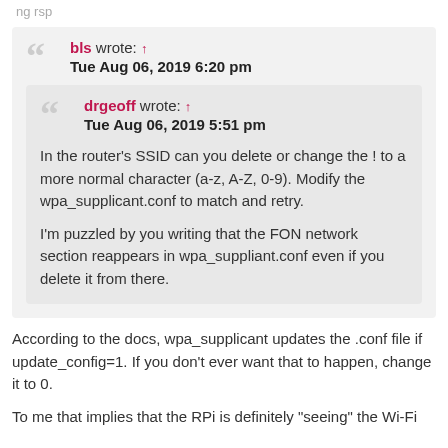bls wrote: ↑ Tue Aug 06, 2019 6:20 pm
drgeoff wrote: ↑ Tue Aug 06, 2019 5:51 pm
In the router's SSID can you delete or change the ! to a more normal character (a-z, A-Z, 0-9). Modify the wpa_supplicant.conf to match and retry.
I'm puzzled by you writing that the FON network section reappears in wpa_suppliant.conf even if you delete it from there.
According to the docs, wpa_supplicant updates the .conf file if update_config=1. If you don't ever want that to happen, change it to 0.
To me that implies that the RPi is definitely "seeing" the Wi-Fi